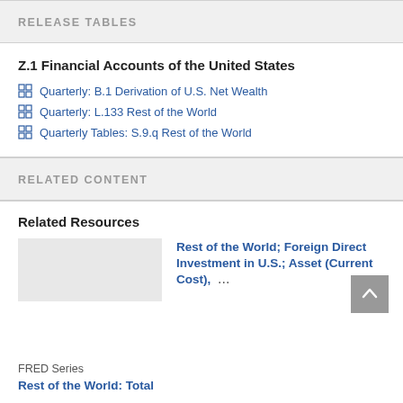RELEASE TABLES
Z.1 Financial Accounts of the United States
Quarterly: B.1 Derivation of U.S. Net Wealth
Quarterly: L.133 Rest of the World
Quarterly Tables: S.9.q Rest of the World
RELATED CONTENT
Related Resources
Rest of the World; Foreign Direct Investment in U.S.; Asset (Current Cost), ...
FRED Series
Rest of the World: Total